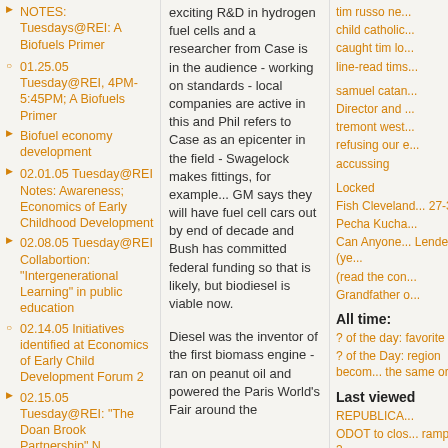NOTES: Tuesdays@REI: A Biofuels Primer
01.25.05 Tuesday@REI, 4PM-5:45PM; A Biofuels Primer
Biofuel economy development
02.01.05 Tuesday@REI Notes: Awareness; Economics of Early Childhood Development
02.08.05 Tuesday@REI Collabortion: "Intergenerational Learning" in public education
02.14.05 Initiatives identified at Economics of Early Child Development Forum 2
02.15.05 Tuesday@REI: "The Doan Brook Partnership" N...
exciting R&D in hydrogen fuel cells and a researcher from Case is in the audience - working on standards - local companies are active in this and Phil refers to Case as an epicenter in the field - Swagelock makes fittings, for example... GM says they will have fuel cell cars out by end of decade and Bush has committed federal funding so that is likely, but biodiesel is viable now.

Diesel was the inventor of the first biomass engine - ran on peanut oil and powered the Paris World's Fair around the
tim russo ne... child catholic... caught tim lo... line-read tims...
samuel catan... Director and ... tremont west... refusing our e... accussing
Locked
Fish Cleveland... 27-30
Pecha Kucha...
Can Anyone... Lenders? (ye... (read the con...
Grandfather o...
All time:
? of the day: favorite local...
? of the Day: region becom... the same or b...
Last viewed
REPUBLICA...
ODOT to clos... ramp Jan. 3...